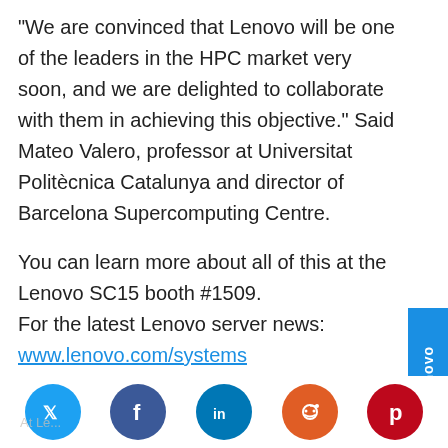“We are convinced that Lenovo will be one of the leaders in the HPC market very soon, and we are delighted to collaborate with them in achieving this objective.” Said Mateo Valero, professor at Universitat Politècnica Catalunya and director of Barcelona Supercomputing Centre.
You can learn more about all of this at the Lenovo SC15 booth #1509.
For the latest Lenovo server news: www.lenovo.com/systems
[Figure (logo): Lenovo vertical sidebar logo in blue]
[Figure (infographic): Social media sharing buttons: Twitter (blue), Facebook (dark blue), LinkedIn (blue), Reddit (orange), Pinterest (red)]